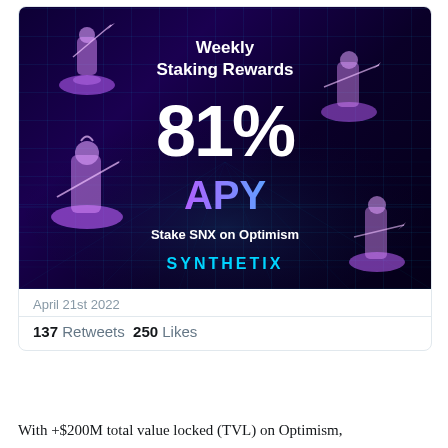[Figure (infographic): Synthetix Weekly Staking Rewards banner showing 81% APY on Optimism, dark purple background with grid, four warrior figurines, and SYNTHETIX logo]
April 21st 2022
137 Retweets 250 Likes
With +$200M total value locked (TVL) on Optimism,